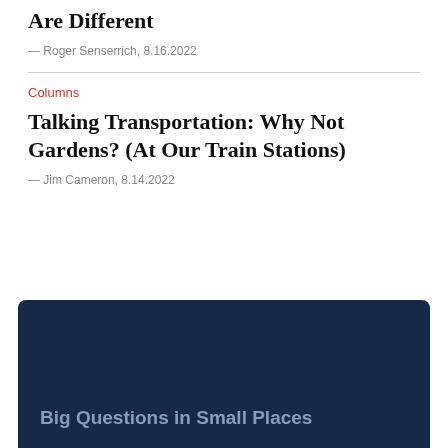Are Different
— Roger Senserrich, 8.16.2022
Columns
Talking Transportation: Why Not Gardens? (At Our Train Stations)
— Jim Cameron, 8.14.2022
Big Questions in Small Places